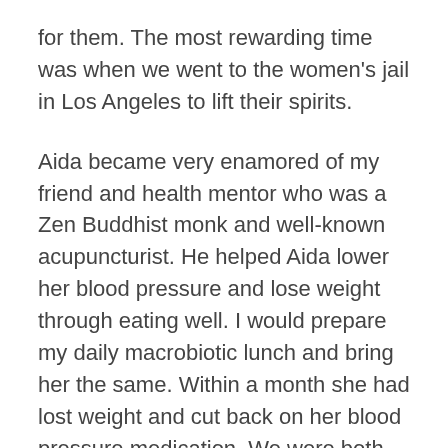for them. The most rewarding time was when we went to the women's jail in Los Angeles to lift their spirits.
Aida became very enamored of my friend and health mentor who was a Zen Buddhist monk and well-known acupuncturist. He helped Aida lower her blood pressure and lose weight through eating well. I would prepare my daily macrobiotic lunch and bring her the same. Within a month she had lost weight and cut back on her blood pressure medication. We were both happy to be eating our lunch quietly in